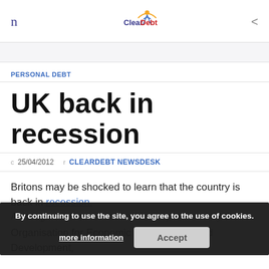n  ClearDebt  <
PERSONAL DEBT
UK back in recession
c  25/04/2012   r  CLEARDEBT NEWSDESK
Britons may be shocked to learn that the country is back in recession. Although such an event had been predicted by the Organisation for Economic Co-operation and Development,
By continuing to use the site, you agree to the use of cookies. more information  Accept